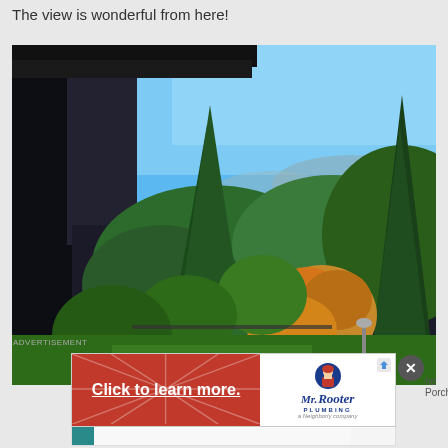The view is wonderful from here!
[Figure (photo): Outdoor view from a house balcony or porch showing trees in autumn colors (green, orange, yellow) against a clear blue sky, with house eaves visible on the left side]
ADVERTISEMENT
[Figure (infographic): Red advertisement banner with Mr. Rooter Plumbing logo. Left side: red background with sunburst rays and white bold text 'Click to learn more.' with underline. Right side: white background with Mr. Rooter mascot (plumber character) and Mr. Rooter Plumbing logo text with 'a Neighborly company' tagline. Close button (X in grey circle) in upper right. Partial text 'he Porch' visible at right edge.]
[Figure (infographic): Bottom advertisement bar with teal left accent stripe, light gray content area, and ad icon in upper right corner]